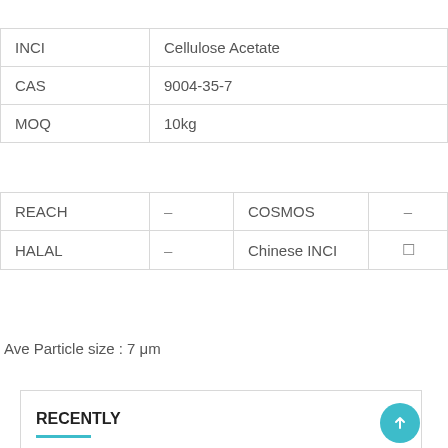|  |  |
| --- | --- |
| INCI | Cellulose Acetate |
| CAS | 9004-35-7 |
| MOQ | 10kg |
|  |  |  |  |
| --- | --- | --- | --- |
| REACH | – | COSMOS | – |
| HALAL | – | Chinese INCI | ✓ |
Ave Particle size : 7 μm
RECENTLY